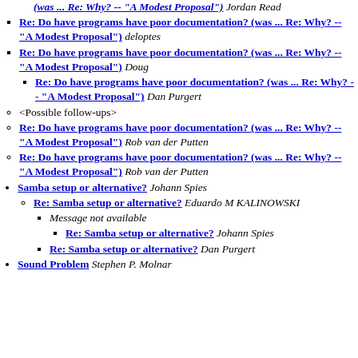Re: Do have programs have poor documentation? (was ... Re: Why? -- "A Modest Proposal") deloptes
Re: Do have programs have poor documentation? (was ... Re: Why? -- "A Modest Proposal") Doug
Re: Do have programs have poor documentation? (was ... Re: Why? -- "A Modest Proposal") Dan Purgert
<Possible follow-ups>
Re: Do have programs have poor documentation? (was ... Re: Why? -- "A Modest Proposal") Rob van der Putten
Re: Do have programs have poor documentation? (was ... Re: Why? -- "A Modest Proposal") Rob van der Putten
Samba setup or alternative? Johann Spies
Re: Samba setup or alternative? Eduardo M KALINOWSKI
Message not available
Re: Samba setup or alternative? Johann Spies
Re: Samba setup or alternative? Dan Purgert
Sound Problem Stephen P. Molnar